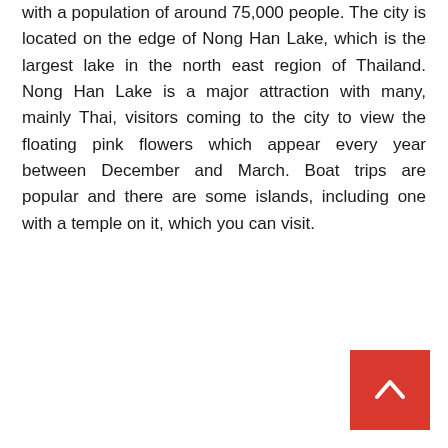with a population of around 75,000 people. The city is located on the edge of Nong Han Lake, which is the largest lake in the north east region of Thailand. Nong Han Lake is a major attraction with many, mainly Thai, visitors coming to the city to view the floating pink flowers which appear every year between December and March. Boat trips are popular and there are some islands, including one with a temple on it, which you can visit.